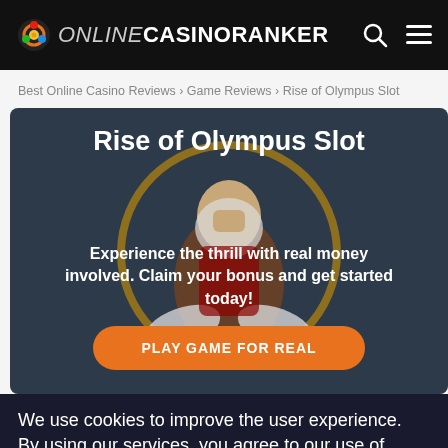ONLINE CASINORANKER
Best Online Casino Reviews › Game Reviews › Rise of Olympus Slot
[Figure (screenshot): Hero banner for Rise of Olympus Slot with dark background, Greek god figure in a golden circle, title text, subtitle text, and orange play button]
Rise of Olympus Slot
Experience the thrill with real money involved. Claim your bonus and get started today!
PLAY GAME FOR REAL
We use cookies to improve the user experience. By using our services, you agree to our use of